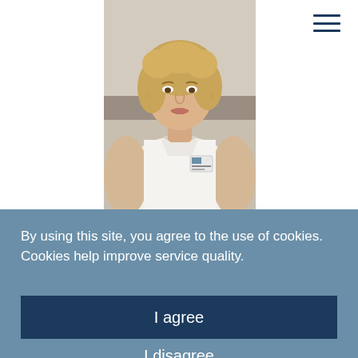[Figure (photo): A woman with blonde curly hair wearing a white top with a hospital ID badge, photographed in a medical/hospital setting. Hamburger menu icon visible in upper right.]
By using this site, you agree to the use of cookies. Cookies help improve service quality.
I agree
I disagree